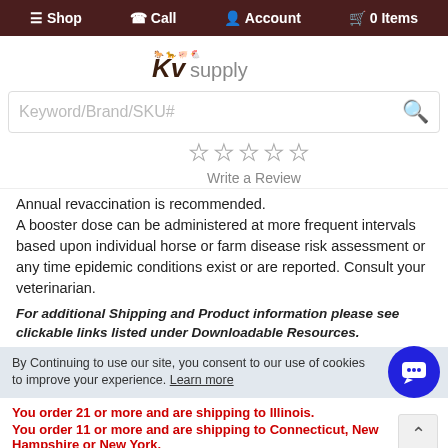≡ Shop  ✆ Call  ♟ Account  🛒 0 Items
[Figure (logo): KV Supply logo with animal silhouettes above]
Keyword/Brand/SKU#
[Figure (other): 5 empty star rating icons]
Write a Review
Annual revaccination is recommended. A booster dose can be administered at more frequent intervals based upon individual horse or farm disease risk assessment or any time epidemic conditions exist or are reported. Consult your veterinarian.
For additional Shipping and Product information please see clickable links listed under Downloadable Resources.
By Continuing to use our site, you consent to our use of cookies to improve your experience. Learn more
You order 21 or more and are shipping to Illinois. You order 11 or more and are shipping to Connecticut, New Hampshire or New York.